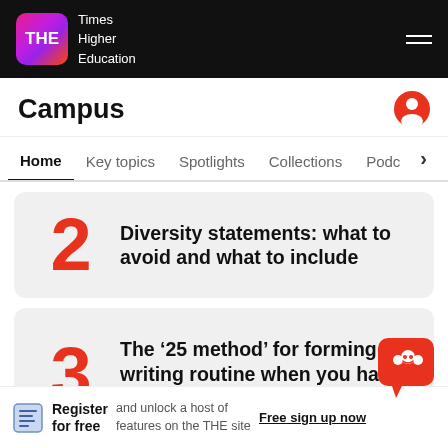THE Times Higher Education
Campus
Home | Key topics | Spotlights | Collections | Podc
2 Diversity statements: what to avoid and what to include
3 The '25 method' for forming a writing routine when you have limited time
Register for free and unlock a host of features on the THE site
Free sign up now